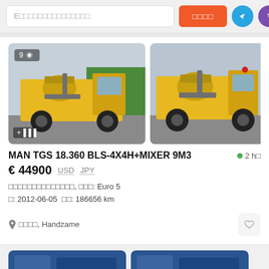Е□□□□□□□□□□□□□□□
[Figure (photo): Yellow MAN TGS 18.360 truck with mixer equipment, left photo showing full side view]
[Figure (photo): Yellow MAN TGS 18.360 truck with mixer equipment, right photo showing front-side view]
MAN TGS 18.360 BLS-4X4H+MIXER 9M3
€ 44900  USD  JPY
□□□□□□□□□□□□□□, □□□: Euro 5
□: 2012-06-05  □□: 186656 km
□□□□, Handzame
[Figure (photo): Bottom strip showing two partial truck listing thumbnails in blue]